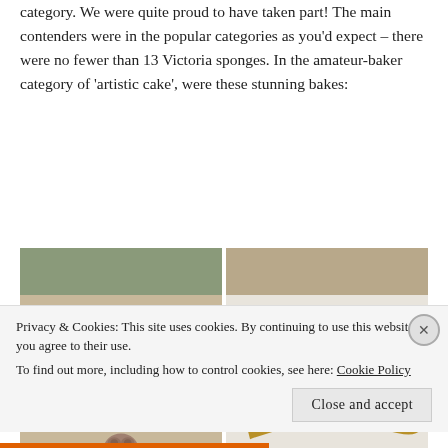category. We were quite proud to have taken part! The main contenders were in the popular categories as you'd expect – there were no fewer than 13 Victoria sponges. In the amateur-baker category of 'artistic cake', were these stunning bakes:
[Figure (photo): Two side-by-side photographs of artistic decorated cakes. Left: whimsical sculpted animal figures (pigs, frogs, mushrooms) on tiered cakes with green base. Right: realistic banana and sausage-shaped cake decorations on a white fabric background.]
Privacy & Cookies: This site uses cookies. By continuing to use this website, you agree to their use.
To find out more, including how to control cookies, see here: Cookie Policy